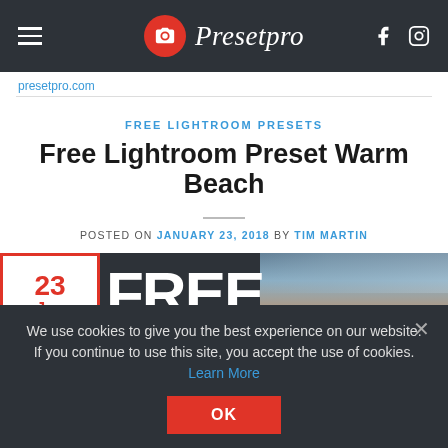Presetpro
presetpro.com
FREE LIGHTROOM PRESETS
Free Lightroom Preset Warm Beach
POSTED ON JANUARY 23, 2018 BY TIM MARTIN
[Figure (screenshot): Date badge showing 23 Jan with large FREE text overlay and beach sunset sky in background]
We use cookies to give you the best experience on our website. If you continue to use this site, you accept the use of cookies. Learn More